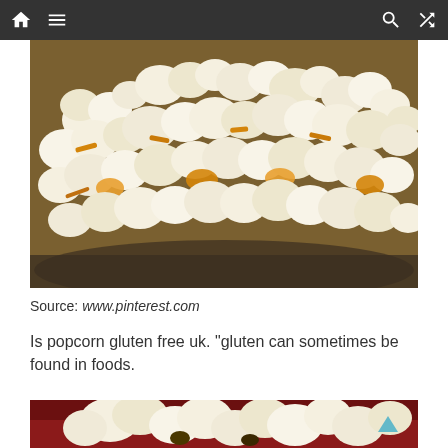Navigation bar with home, menu, search, and shuffle icons
[Figure (photo): Close-up photograph of popcorn mixed with pretzels and orange pieces in a dark bowl]
Source: www.pinterest.com
Is popcorn gluten free uk. “gluten can sometimes be found in foods.
[Figure (photo): Partial view of popcorn in a red bowl, bottom of page]